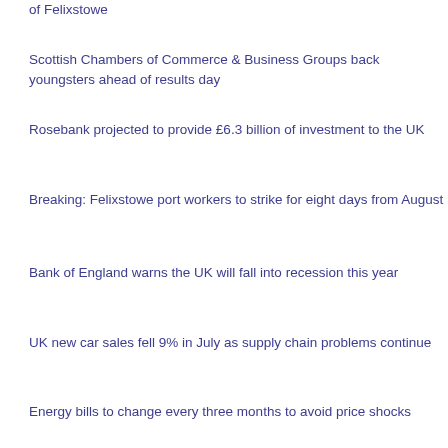of Felixstowe
Scottish Chambers of Commerce & Business Groups back youngsters ahead of results day
Rosebank projected to provide £6.3 billion of investment to the UK
Breaking: Felixstowe port workers to strike for eight days from August
Bank of England warns the UK will fall into recession this year
UK new car sales fell 9% in July as supply chain problems continue
Energy bills to change every three months to avoid price shocks
Liz Cameron: Next Prime Minister must put UK economic